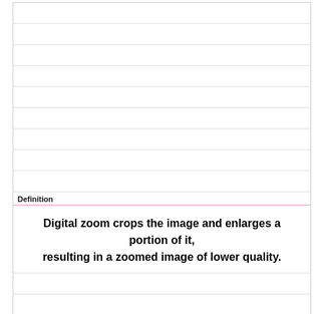| Definition |
| --- |
| Digital zoom crops the image and enlarges a portion of it, resulting in a zoomed image of lower quality. |
| Term |
| --- |
| Storage |